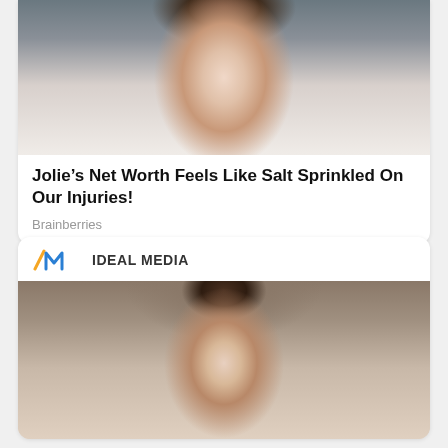[Figure (photo): Photo of a woman with long dark hair, red lipstick, wearing a white outfit, partial face/torso visible from above]
Jolie’s Net Worth Feels Like Salt Sprinkled On Our Injuries!
Brainberries
[Figure (logo): Ideal Media logo with IM icon in orange/blue and text IDEAL MEDIA]
[Figure (photo): Photo of a woman with short curly dark hair, looking at camera, partial face visible]